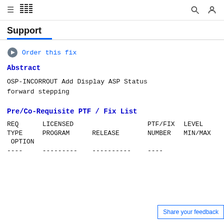IBM Support
Support
Order this fix
Abstract
OSP-INCORROUT Add Display ASP Status forward stepping
Pre/Co-Requisite PTF / Fix List
| REQ TYPE | LICENSED PROGRAM | RELEASE | PTF/FIX NUMBER | LEVEL MIN/MAX OPTION |
| --- | --- | --- | --- | --- |
| ---- | --------- | ---------- | ---- |  |